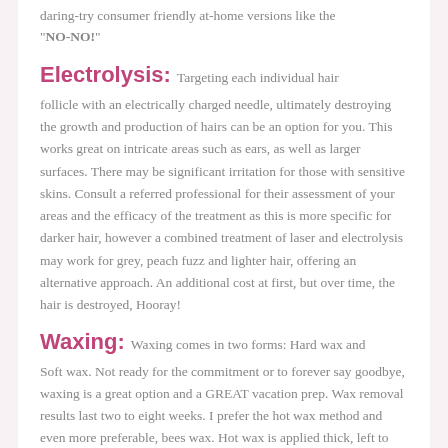daring-try consumer friendly at-home versions like the "NO-NO!"
Electrolysis:
Targeting each individual hair follicle with an electrically charged needle, ultimately destroying the growth and production of hairs can be an option for you. This works great on intricate areas such as ears, as well as larger surfaces. There may be significant irritation for those with sensitive skins. Consult a referred professional for their assessment of your areas and the efficacy of the treatment as this is more specific for darker hair, however a combined treatment of laser and electrolysis may work for grey, peach fuzz and lighter hair, offering an alternative approach. An additional cost at first, but over time, the hair is destroyed, Hooray!
Waxing:
Waxing comes in two forms: Hard wax and Soft wax. Not ready for the commitment or to forever say goodbye, waxing is a great option and a GREAT vacation prep. Wax removal results last two to eight weeks. I prefer the hot wax method and even more preferable, bees wax. Hot wax is applied thick, left to cool, then